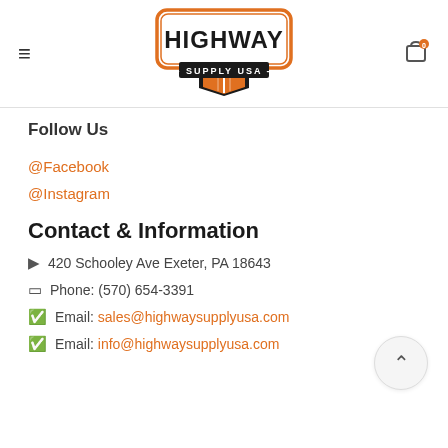[Figure (logo): Highway Supply USA logo — orange shield shape with HIGHWAY in bold black letters and SUPPLY USA on dark banner]
Follow Us
@Facebook
@Instagram
Contact & Information
420 Schooley Ave Exeter, PA 18643
Phone: (570) 654-3391
Email: sales@highwaysupplyusa.com
Email: info@highwaysupplyusa.com